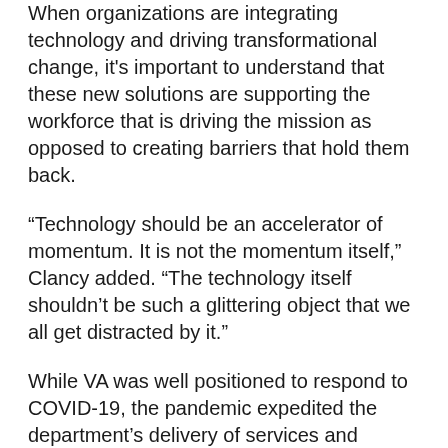When organizations are integrating technology and driving transformational change, it's important to understand that these new solutions are supporting the workforce that is driving the mission as opposed to creating barriers that hold them back.
“Technology should be an accelerator of momentum. It is not the momentum itself,” Clancy added. “The technology itself shouldn’t be such a glittering object that we all get distracted by it.”
While VA was well positioned to respond to COVID-19, the pandemic expedited the department’s delivery of services and solutions for veterans. One example is VA’s ability to rapidly ramp up telehealth services, increasing virtual visits by 1,700%.
“It’s a very different way of doing business, and it